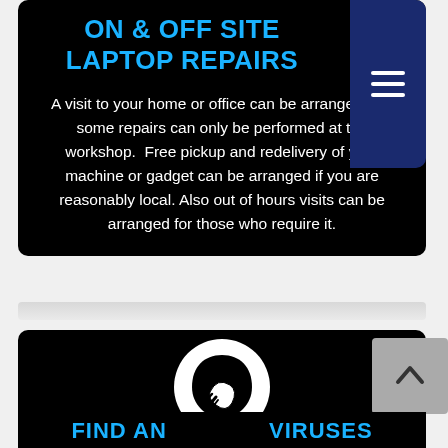ON & OFF SITE LAPTOP REPAIRS
A visit to your home or office can be arranged, but some repairs can only be performed at the workshop.  Free pickup and redelivery of your machine or gadget can be arranged if you are reasonably local. Also out of hours visits can be arranged for those who require it.
[Figure (illustration): Black circle icon with a hand/tool symbol inside a white circle, on a black background]
FIND AND... VIRUSES